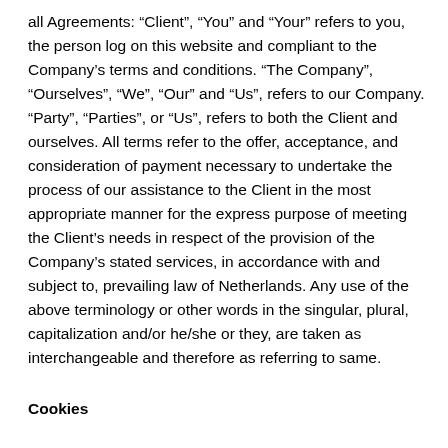all Agreements: “Client”, “You” and “Your” refers to you, the person log on this website and compliant to the Company’s terms and conditions. “The Company”, “Ourselves”, “We”, “Our” and “Us”, refers to our Company. “Party”, “Parties”, or “Us”, refers to both the Client and ourselves. All terms refer to the offer, acceptance, and consideration of payment necessary to undertake the process of our assistance to the Client in the most appropriate manner for the express purpose of meeting the Client’s needs in respect of the provision of the Company’s stated services, in accordance with and subject to, prevailing law of Netherlands. Any use of the above terminology or other words in the singular, plural, capitalization and/or he/she or they, are taken as interchangeable and therefore as referring to same.
Cookies